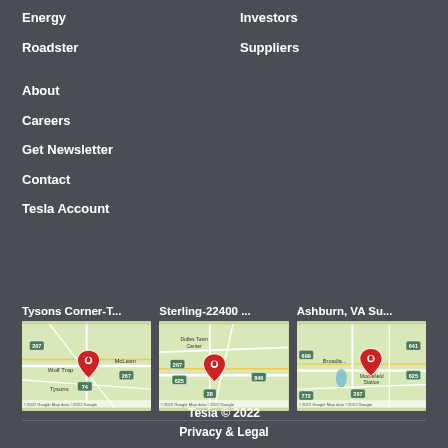Energy
Roadster
Investors
Suppliers
About
Careers
Get Newsletter
Contact
Tesla Account
Tysons Corner-T...
[Figure (map): Google Map showing Tysons Corner area with a red Tesla pin marker near Wolf Trap and McLean, VA]
Sterling-22400 ...
[Figure (map): Google Map showing Sterling area near Dulles Town Center with a red Tesla pin marker]
Ashburn, VA Su...
[Figure (map): Google Map showing Ashburn VA area near Broadlands and Moorefield Station with a red Tesla pin marker]
Tesla © 2022
Privacy & Legal